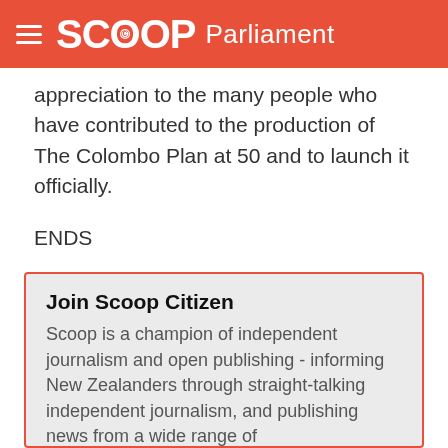SCOOP Parliament
appreciation to the many people who have contributed to the production of The Colombo Plan at 50 and to launch it officially.
ENDS
© Scoop Media
Join Scoop Citizen
Scoop is a champion of independent journalism and open publishing - informing New Zealanders through straight-talking independent journalism, and publishing news from a wide range of